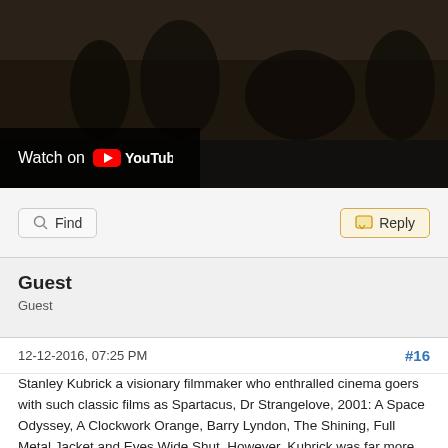[Figure (screenshot): YouTube video thumbnail showing a dark scene with silhouetted figures and a 'Watch on YouTube' overlay button in the bottom left corner.]
Find
Reply
Guest
Guest
12-12-2016, 07:25 PM
#16
Stanley Kubrick a visionary filmmaker who enthralled cinema goers with such classic films as Spartacus, Dr Strangelove, 2001: A Space Odyssey, A Clockwork Orange, Barry Lyndon, The Shining, Full Metal Jacket and Eyes Wide Shut. However, Kubrick was far more than a Hollywood legend. In this presentation, this video examines Kubrick's fascination with symbolism (such as Saturn, masonry, the secret schools and numerology) and agenda driven themes (such as trans/post-humanism, mind control, and elite control mechanisms.) The presentation will also analyse Kubrick's associations with NASA